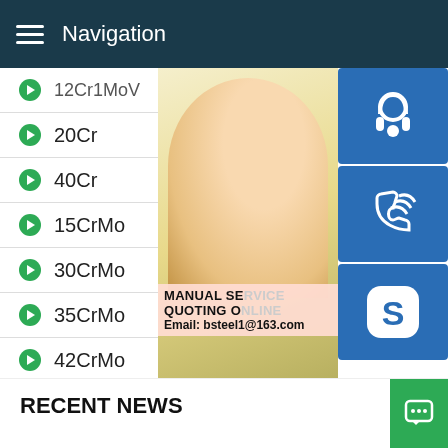Navigation
12Cr1MoV
20Cr
40Cr
15CrMo
30CrMo
35CrMo
42CrMo
[Figure (photo): Customer service representative woman with headset, with contact icons overlay showing headset, phone, and Skype buttons, and text: MANUAL SE... QUOTING O... Email: bsteel1@163.com]
RECENT NEWS
2 1 70 C 40% A radioactive material of half